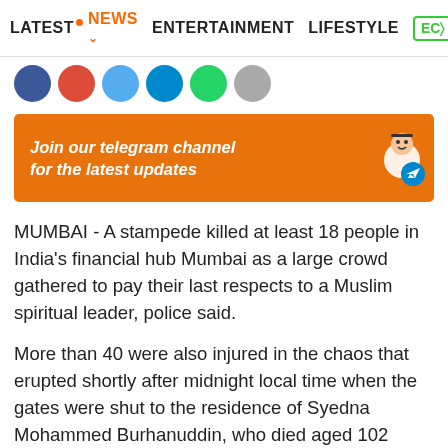LATEST  NEWS  ENTERTAINMENT  LIFESTYLE  EC>
[Figure (illustration): Social media share icons: Facebook (blue), Google+ (red), Twitter (light blue), Telegram (blue), WhatsApp (green), and one more circle icon]
[Figure (infographic): Orange banner advertisement: 'Join our telegram channel for the latest updates' with a cartoon mascot and Telegram logo]
MUMBAI - A stampede killed at least 18 people in India's financial hub Mumbai as a large crowd gathered to pay their last respects to a Muslim spiritual leader, police said.
More than 40 were also injured in the chaos that erupted shortly after midnight local time when the gates were shut to the residence of Syedna Mohammed Burhanuddin, who died aged 102 Friday.
More from AsiaOne